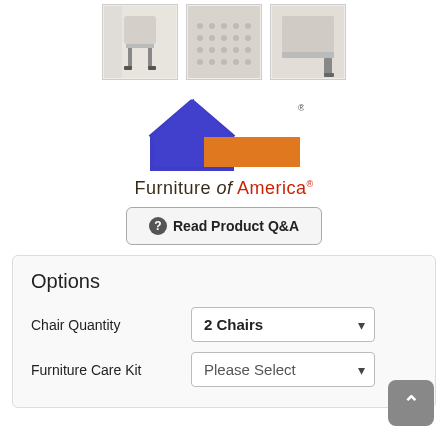[Figure (photo): Three product thumbnail images of a chair: full chair view, fabric detail close-up, and corner leg detail]
[Figure (logo): Furniture of America logo — purple house outline with orange rectangle, text 'Furniture of America' with registered trademark]
Read Product Q&A
Options
Chair Quantity
2 Chairs
Furniture Care Kit
Please Select